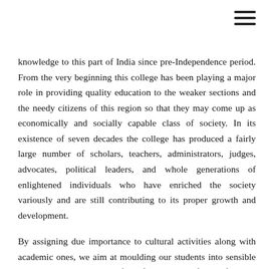knowledge to this part of India since pre-Independence period. From the very beginning this college has been playing a major role in providing quality education to the weaker sections and the needy citizens of this region so that they may come up as economically and socially capable class of society. In its existence of seven decades the college has produced a fairly large number of scholars, teachers, administrators, judges, advocates, political leaders, and whole generations of enlightened individuals who have enriched the society variously and are still contributing to its proper growth and development.
By assigning due importance to cultural activities along with academic ones, we aim at moulding our students into sensible and considerate civilians of the future. In the fields of sports, N.C.C., N.S.S., extension work also we have commendable achievements to our claim. One distinguished feature of this college in recent years is the induction of Urdu and Persian